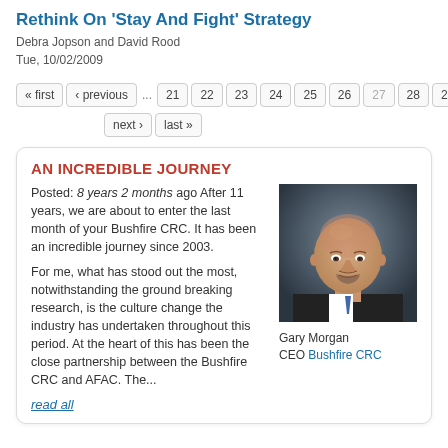Rethink On 'Stay And Fight' Strategy
Debra Jopson and David Rood
Tue, 10/02/2009
« first  ‹ previous  ...  21  22  23  24  25  26  27  28  29
next ›  last »
AN INCREDIBLE JOURNEY
Posted: 8 years 2 months ago After 11 years, we are about to enter the last month of your Bushfire CRC. It has been an incredible journey since 2003.

For me, what has stood out the most, notwithstanding the ground breaking research, is the culture change the industry has undertaken throughout this period. At the heart of this has been the close partnership between the Bushfire CRC and AFAC. The...
[Figure (photo): Portrait photo of Gary Morgan, CEO of Bushfire CRC, a middle-aged bald man in a dark suit, smiling slightly against a dark background]
Gary Morgan
CEO Bushfire CRC
read all